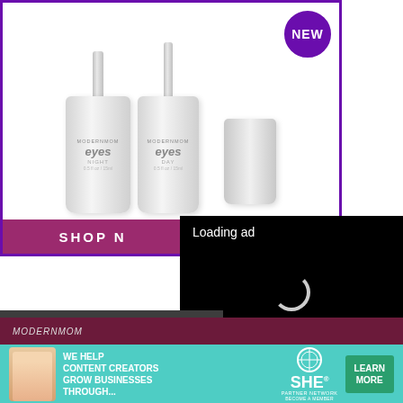[Figure (photo): Product advertisement showing two skincare bottles (ModernMom eyes NIGHT and eyes DAY serums) with a silver cap, purple NEW badge, and SHOP NOW button on maroon background]
[Figure (screenshot): Video player overlay showing black background with 'Loading ad' text, spinning loader, and playback controls (pause, expand, mute)]
MODERNMOM TV
[Figure (photo): Bottom maroon strip with partial content visible]
[Figure (infographic): Teal banner advertisement: WE HELP CONTENT CREATORS GROW BUSINESSES THROUGH... with SHE PARTNER NETWORK logo and LEARN MORE button]